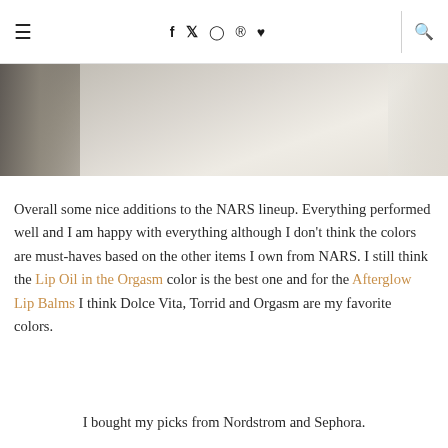≡   f  𝕏  ◎  ⊕  ♥  |  🔍
[Figure (photo): Partial photo of person near marble surface, cropped at top of page below header]
Overall some nice additions to the NARS lineup. Everything performed well and I am happy with everything although I don't think the colors are must-haves based on the other items I own from NARS. I still think the Lip Oil in the Orgasm color is the best one and for the Afterglow Lip Balms I think Dolce Vita, Torrid and Orgasm are my favorite colors.
I bought my picks from Nordstrom and Sephora.